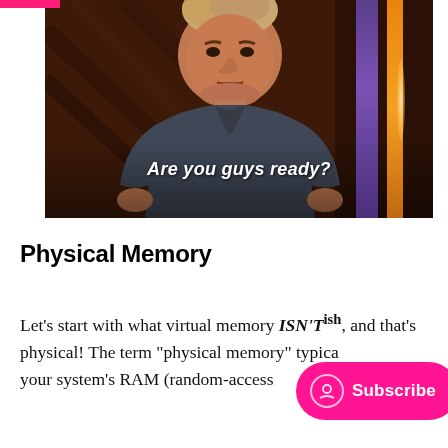[Figure (photo): A man (resembling Gordon Ramsay) standing in front of a dark studio background with purple and orange vertical bars on the right side. A subtitle reads 'Are you guys ready?' overlaid on the lower portion of the image.]
Physical Memory
Let's start with what virtual memory ISN'T⁺ish, and that's physical! The term "physical memory" typica… your system's RAM (random-access